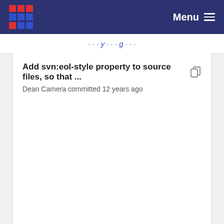Menu
Add svn:eol-style property to source files, so that ...
Dean Camera committed 12 years ago